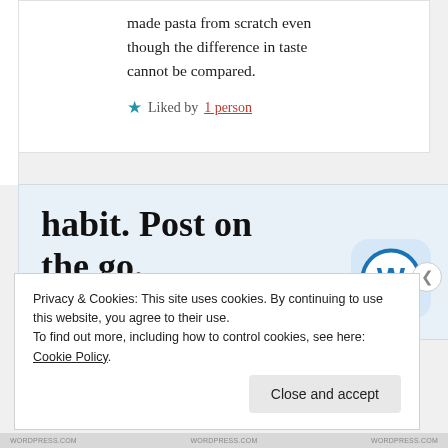made pasta from scratch even though the difference in taste cannot be compared.
★ Liked by 1 person
habit. Post on the go.
GET THE APP
[Figure (logo): WordPress app icon: blue circle with white W on light blue rounded square background]
Privacy & Cookies: This site uses cookies. By continuing to use this website, you agree to their use.
To find out more, including how to control cookies, see here: Cookie Policy
Close and accept
WORDPRESS.COM     WORDPRESS.COM     WORDPRESS.COM